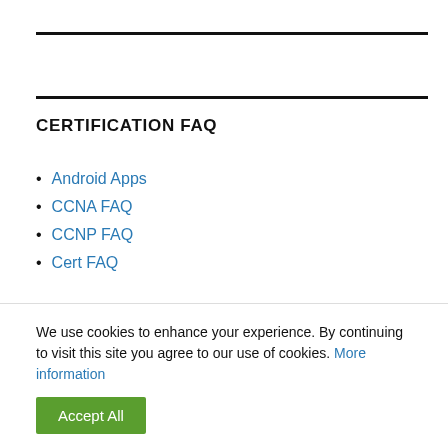CERTIFICATION FAQ
Android Apps
CCNA FAQ
CCNP FAQ
Cert FAQ
We use cookies to enhance your experience. By continuing to visit this site you agree to our use of cookies. More information
Accept All